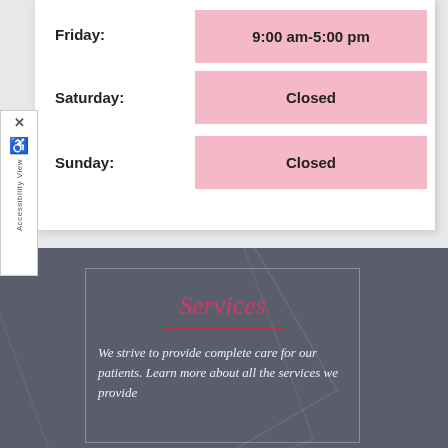| Day | Hours |
| --- | --- |
| Friday: | 9:00 am-5:00 pm |
| Saturday: | Closed |
| Sunday: | Closed |
Services
We strive to provide complete care for our patients. Learn more about all the services we provide